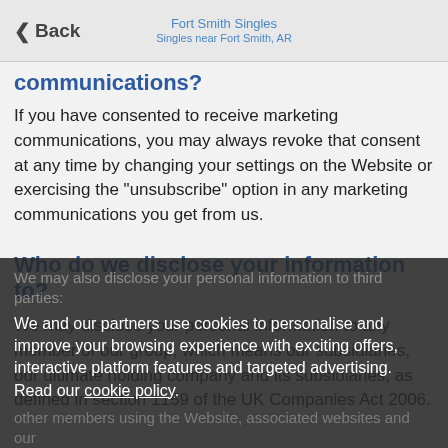Back | Fort Smith Singles | Singles near Fort Smith, AR
communications?
If you have consented to receive marketing communications, you may always revoke that consent at any time by changing your settings on the Website or exercising the "unsubscribe" option in any marketing communications you get from us.
Who do we disclose your information to?
We may disclose your personal information to any member of our group, which means our subsidiaries, our ultimate holding company and its subsidiaries, as defined in section 1159 of the UK Companies Act 2006.
We may also disclose your personal information to third parties: We and our partners use cookies to personalise and improve your browsing experience with exciting offers, interactive platform features and targeted advertising. Read our cookie policy. If you do not agree then please withdraw from using this site. other members using the Website, associated websites and our Services);